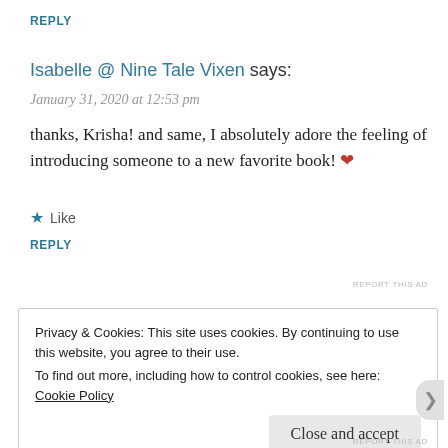REPLY
Isabelle @ Nine Tale Vixen says:
January 31, 2020 at 12:53 pm
thanks, Krisha! and same, I absolutely adore the feeling of introducing someone to a new favorite book! ❤
★ Like
REPLY
REPORT THIS AD
Privacy & Cookies: This site uses cookies. By continuing to use this website, you agree to their use.
To find out more, including how to control cookies, see here: Cookie Policy
Close and accept
REPORT THIS AD